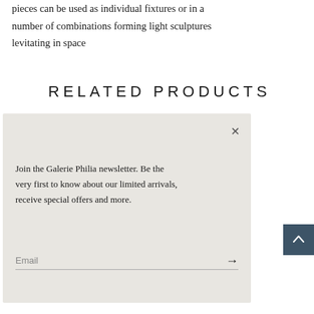pieces can be used as individual fixtures or in a number of combinations forming light sculptures levitating in space
RELATED PRODUCTS
Join the Galerie Philia newsletter. Be the very first to know about our limited arrivals, receive special offers and more.